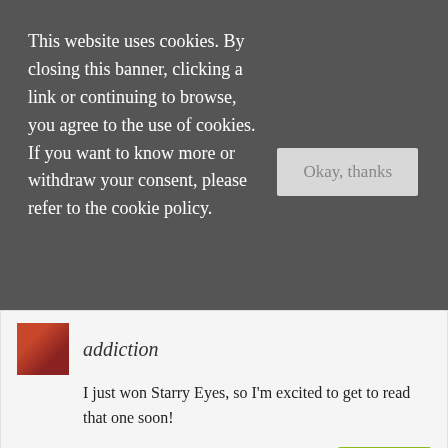This website uses cookies. By closing this banner, clicking a link or continuing to browse, you agree to the use of cookies. If you want to know more or withdraw your consent, please refer to the cookie policy.
Okay, thanks
addiction
I just won Starry Eyes, so I'm excited to get to read that one soon!
may 14, 2018, 8:14 pm
Reply
jen
I have Alex, Approximately just sitting on my shelf and I'm so glad you enjoyed it! That trope and fake boyfriends get me every time lol. But I'll